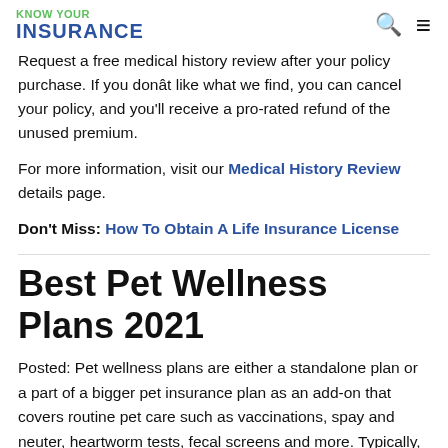KNOW YOUR INSURANCE
Request a free medical history review after your policy purchase. If you donât like what we find, you can cancel your policy, and you'll receive a pro-rated refund of the unused premium.
For more information, visit our Medical History Review details page.
Don't Miss: How To Obtain A Life Insurance License
Best Pet Wellness Plans 2021
Posted: Pet wellness plans are either a standalone plan or a part of a bigger pet insurance plan as an add-on that covers routine pet care such as vaccinations, spay and neuter, heartworm tests, fecal screens and more. Typically,